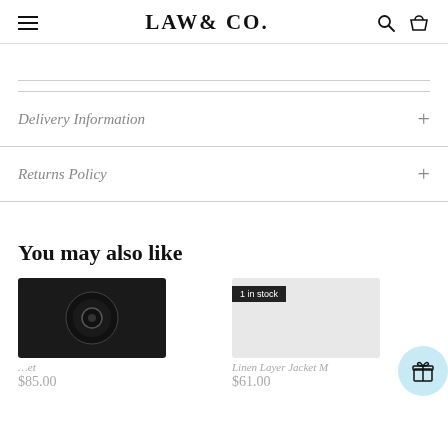LAW & CO.
Delivery Information
Returns Policy
You may also like
$85.00
1 in stock
Linen Layer Jacket M
$61.00